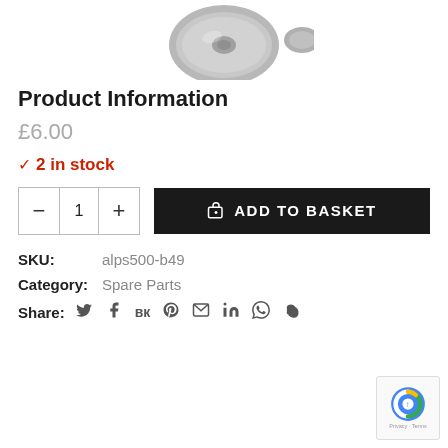[Figure (photo): Partial view of a coin or metallic circular part at the top of the page]
Product Information
£6.00
✓ 2 in stock
ADD TO BASKET (quantity selector with − 1 + control and Add to Basket button)
SKU: alps500-b49
Category: Spare Parts
Share: (social media icons: Twitter, Facebook, VK, Pinterest, Email, LinkedIn, WhatsApp, Skype)